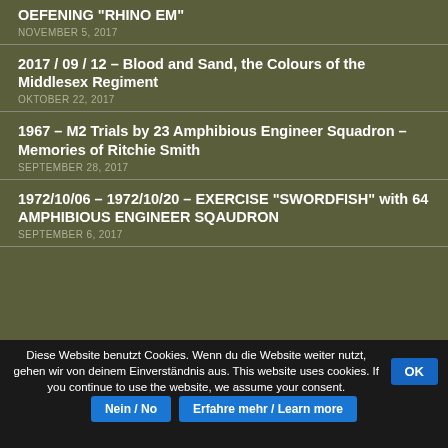OEFENING “RHINO EM”
NOVEMBER 5, 2017
2017 / 09 / 12 – Blood and Sand, the Colours of the Middlesex Regiment
OKTOBER 22, 2017
1967 – M2 Trials by 23 Amphibious Engineer Squadron – Memories of Ritchie Smith
SEPTEMBER 28, 2017
1972/10/06 – 1972/10/20 – EXERCISE “SWORDFISH” with 64 AMPHIBIOUS ENGINEER SQAUDRON
SEPTEMBER 6, 2017
Diese Website benutzt Cookies. Wenn du die Website weiter nutzt, gehen wir von deinem Einverständnis aus. This website uses cookies. If you continue to use the website, we assume your consent.
OK
Nein / No
Erfahre mehr / Learn more